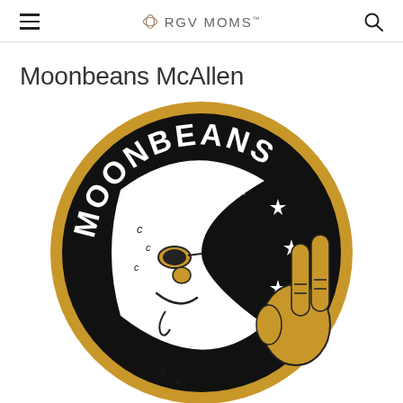RGV MOMS
Moonbeans McAllen
[Figure (logo): Moonbeans circular logo featuring a crescent moon face with sunglasses and a peace hand sign, with white stars on a black background, and a gold outer ring. The text 'MOONBEANS' arcs along the top inside the circle.]